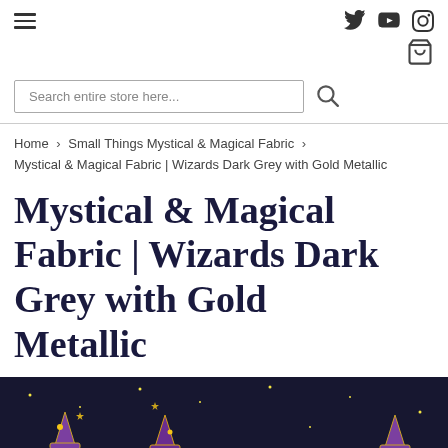Navigation header with hamburger menu, Twitter, YouTube, Instagram icons, and shopping cart
Search entire store here...
Home > Small Things Mystical & Magical Fabric > Mystical & Magical Fabric | Wizards Dark Grey with Gold Metallic
Mystical & Magical Fabric | Wizards Dark Grey with Gold Metallic
[Figure (photo): Product fabric image showing dark navy background with wizard hats in purple and gold stars, metallic accents]